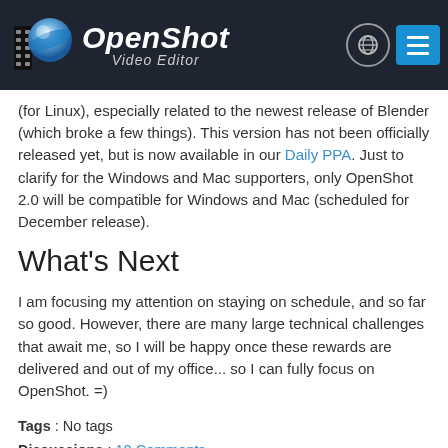[Figure (logo): OpenShot Video Editor logo with blue/white sphere icon and text on dark background header with globe and menu icons]
(for Linux), especially related to the newest release of Blender (which broke a few things). This version has not been officially released yet, but is now available in our Daily PPA. Just to clarify for the Windows and Mac supporters, only OpenShot 2.0 will be compatible for Windows and Mac (scheduled for December release).
What's Next
I am focusing my attention on staying on schedule, and so far so good. However, there are many large technical challenges that await me, so I will be happy once these rewards are delivered and out of my office... so I can fully focus on OpenShot. =)
Tags : No tags
Discussions : 10 Comments